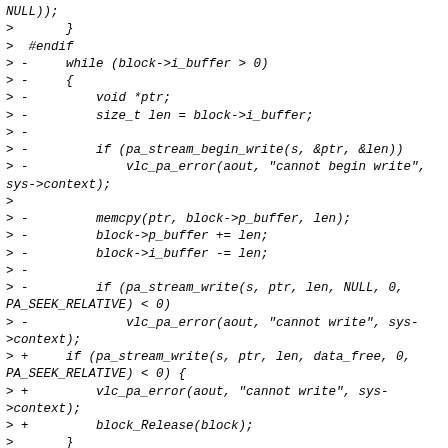NULL));
>       }
>  #endif
> -     while (block->i_buffer > 0)
> -     {
> -         void *ptr;
> -         size_t len = block->i_buffer;
> -
> -         if (pa_stream_begin_write(s, &ptr, &len))
> -             vlc_pa_error(aout, "cannot begin write", sys->context);
>
> -         memcpy(ptr, block->p_buffer, len);
> -         block->p_buffer += len;
> -         block->i_buffer -= len;
> -
> -         if (pa_stream_write(s, ptr, len, NULL, 0, PA_SEEK_RELATIVE) < 0)
> -             vlc_pa_error(aout, "cannot write", sys->context);
> +     if (pa_stream_write(s, ptr, len, data_free, 0, PA_SEEK_RELATIVE) < 0) {
> +         vlc_pa_error(aout, "cannot write", sys->context);
> +         block_Release(block);
>       }
>
> -     block_Release(block);
> -
>       pa_threaded_mainloop_unlock(sys->mainloop);